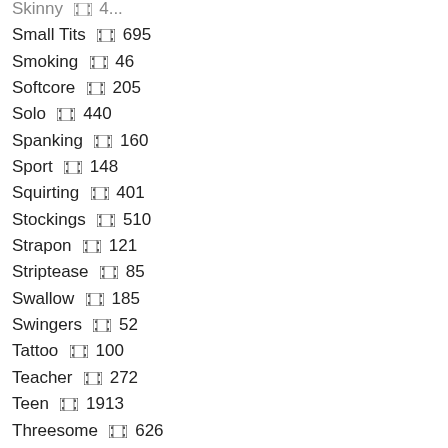Small Tits  695
Smoking  46
Softcore  205
Solo  440
Spanking  160
Sport  148
Squirting  401
Stockings  510
Strapon  121
Striptease  85
Swallow  185
Swingers  52
Tattoo  100
Teacher  272
Teen  1913
Threesome  626
Titfuck  284